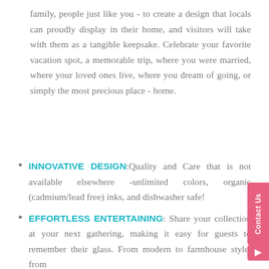family, people just like you - to create a design that locals can proudly display in their home, and visitors will take with them as a tangible keepsake. Celebrate your favorite vacation spot, a memorable trip, where you were married, where your loved ones live, where you dream of going, or simply the most precious place - home.
INNOVATIVE DESIGN: Quality and Care that is not available elsewhere -unlimited colors, organic (cadmium/lead free) inks, and dishwasher safe!
EFFORTLESS ENTERTAINING: Share your collection at your next gathering, making it easy for guests to remember their glass. From modern to farmhouse style, from